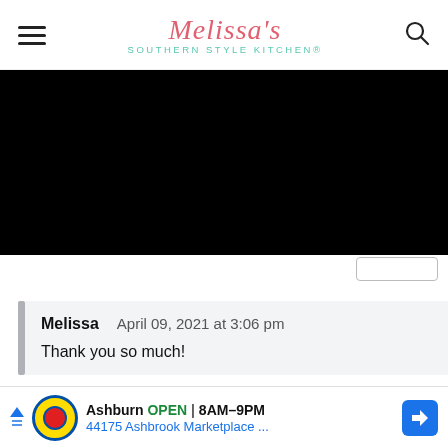Melissa's Southern Style Kitchen®
[Figure (photo): Black rectangle representing a video or image placeholder on the website]
Melissa   April 09, 2021 at 3:06 pm

Thank you so much!
[Figure (infographic): Advertisement for Lidl store in Ashburn: OPEN 8AM-9PM, 44175 Ashbrook Marketplace ...]